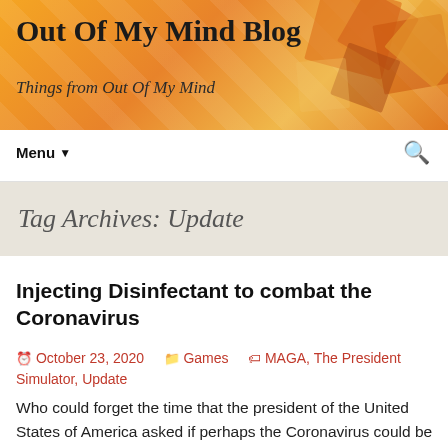Out Of My Mind Blog
Things from Out Of My Mind
Menu
Tag Archives: Update
Injecting Disinfectant to combat the Coronavirus
October 23, 2020   Games   MAGA, The President Simulator, Update
Who could forget the time that the president of the United States of America asked if perhaps the Coronavirus could be